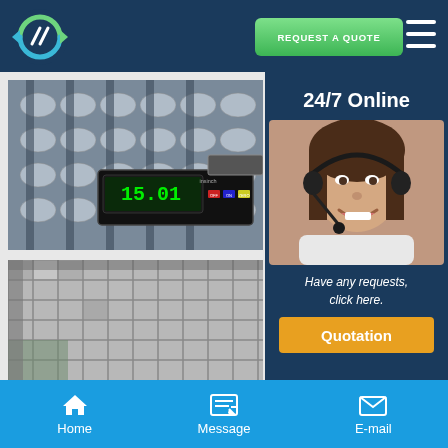[Figure (logo): Company logo: circular icon with green and blue swash arrows on dark blue header background]
REQUEST A QUOTE
[Figure (photo): Close-up photo of metallic stamped parts/components with a digital caliper showing measurement 15.01]
[Figure (photo): Photo of building facade with grid/lattice window panels]
24/7 Online
[Figure (photo): Photo of a smiling female customer service agent wearing a headset]
Have any requests, click here.
Quotation
Home
Message
E-mail